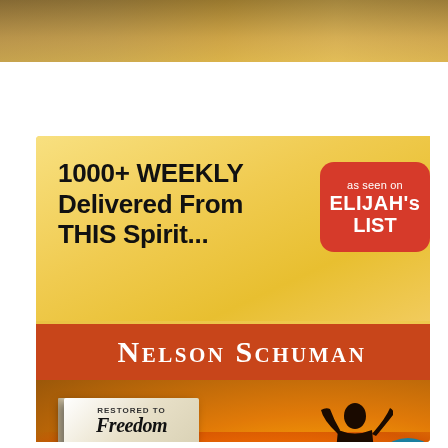[Figure (photo): Top portion of a photo showing two people outdoors in a field with golden light]
[Figure (infographic): Advertisement banner with golden background featuring text '1000+ WEEKLY Delivered From THIS Spirit...' with red badge 'as seen on ELIJAH's LIST', orange banner with author name 'NELSON SCHUMAN', and bottom section showing a book 'RESTORED TO FREEDOM' and person silhouette with arms raised against sunset background]